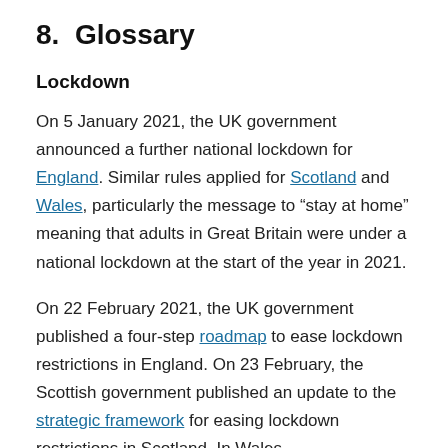8.  Glossary
Lockdown
On 5 January 2021, the UK government announced a further national lockdown for England. Similar rules applied for Scotland and Wales, particularly the message to “stay at home” meaning that adults in Great Britain were under a national lockdown at the start of the year in 2021.
On 22 February 2021, the UK government published a four-step roadmap to ease lockdown restrictions in England. On 23 February, the Scottish government published an update to the strategic framework for easing lockdown restrictions in Scotland. In Wales,